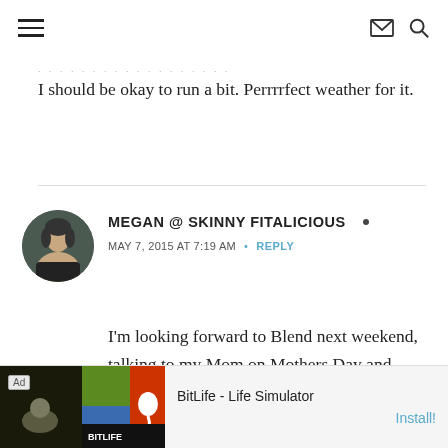[hamburger menu] [envelope icon] [search icon]
I should be okay to run a bit. Perrrrfect weather for it.
MEGAN @ SKINNY FITALICIOUS • MAY 7, 2015 AT 7:19 AM • REPLY
I'm looking forward to Blend next weekend, talking to my Mom on Mothers Day and eating sushi with friends this weekend.
Ad BitLife - Life Simulator Install!